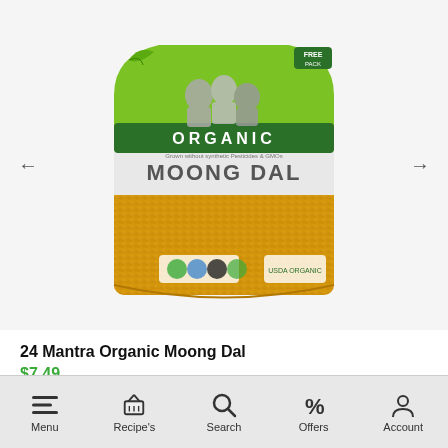[Figure (photo): Product image of 24 Mantra Organic Moong Dal bag with green and white packaging showing the Organic brand logo, people on the label, and yellow moong dal lentils visible through the packaging.]
24 Mantra Organic Moong Dal
$7.49
Menu | Recipe's | Search | Offers | Account